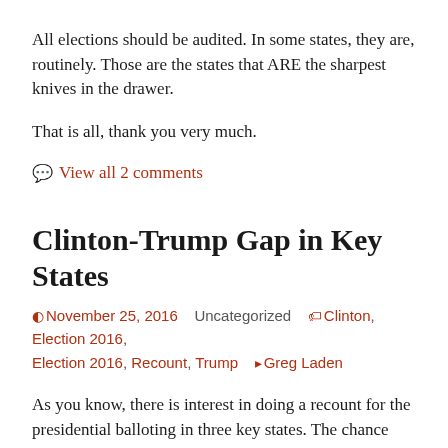All elections should be audited. In some states, they are, routinely. Those are the states that ARE the sharpest knives in the drawer.
That is all, thank you very much.
💬 View all 2 comments
Clinton-Trump Gap in Key States
November 25, 2016   Uncategorized   Clinton, Election 2016, Election 2016, Recount, Trump   Greg Laden
As you know, there is interest in doing a recount for the presidential balloting in three key states. The chance that a recount in these three states would change Trump's win